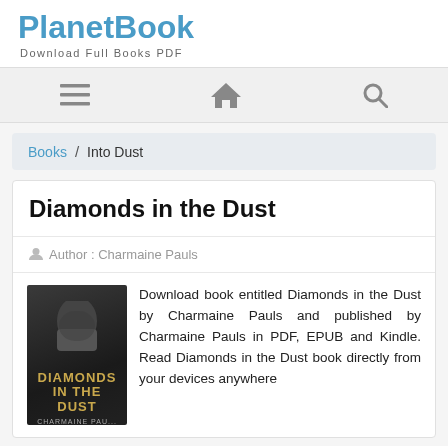PlanetBook
Download Full Books PDF
[Figure (screenshot): Navigation bar with hamburger menu icon, home icon, and search icon on a light gray background]
Books / Into Dust
Diamonds in the Dust
Author : Charmaine Pauls
[Figure (photo): Book cover of Diamonds in the Dust by Charmaine Pauls showing a man in a white shirt with DIAMONDS in the dust text]
Download book entitled Diamonds in the Dust by Charmaine Pauls and published by Charmaine Pauls in PDF, EPUB and Kindle. Read Diamonds in the Dust book directly from your devices anywhere